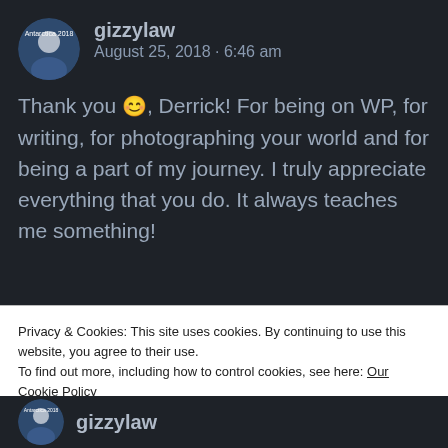gizzylaw
August 25, 2018 · 6:46 am
Thank you 😊, Derrick! For being on WP, for writing, for photographing your world and for being a part of my journey. I truly appreciate everything that you do. It always teaches me something!
Privacy & Cookies: This site uses cookies. By continuing to use this website, you agree to their use.
To find out more, including how to control cookies, see here: Our Cookie Policy
Close and accept
gizzylaw